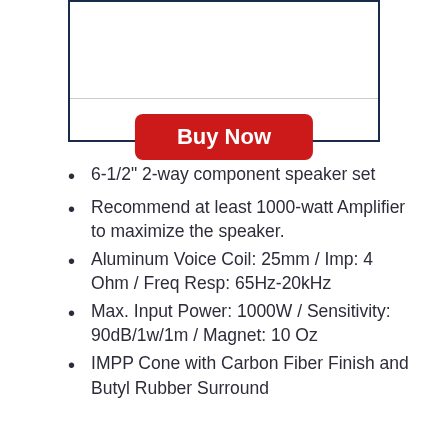[Figure (other): Buy Now button inside a bordered box with a horizontal divider]
6-1/2" 2-way component speaker set
Recommend at least 1000-watt Amplifier to maximize the speaker.
Aluminum Voice Coil: 25mm / Imp: 4 Ohm / Freq Resp: 65Hz-20kHz
Max. Input Power: 1000W / Sensitivity: 90dB/1w/1m / Magnet: 10 Oz
IMPP Cone with Carbon Fiber Finish and Butyl Rubber Surround